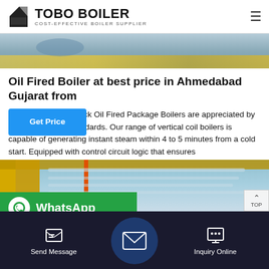TOBO BOILER — COST-EFFECTIVE BOILER SUPPLIER
[Figure (photo): Industrial boiler equipment with yellow frame on concrete floor]
Oil Fired Boiler at best price in Ahmedabad Gujarat from
et Back Oil Fired Package Boilers are appreciated by their high quality standards. Our range of vertical coil boilers is capable of generating instant steam within 4 to 5 minutes from a cold start. Equipped with control circuit logic that ensures
[Figure (photo): Industrial boiler interior showing yellow structural beams and pipework with orange stripe]
Send Message | Inquiry Online